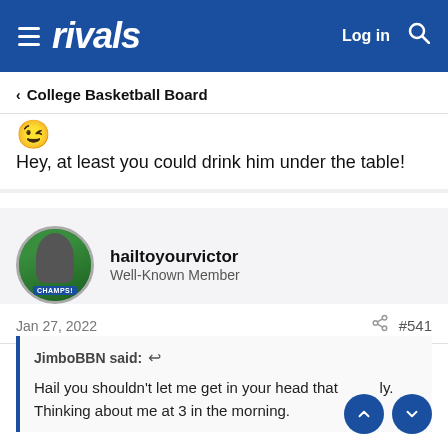rivals — Log in
< College Basketball Board
[Figure (illustration): Winking face emoji 😉]
Hey, at least you could drink him under the table!
hailtoyourvictor
Well-Known Member
Jan 27, 2022   #541
JimboBBN said: ↩

Hail you shouldn't let me get in your head that easily. Thinking about me at 3 in the morning.